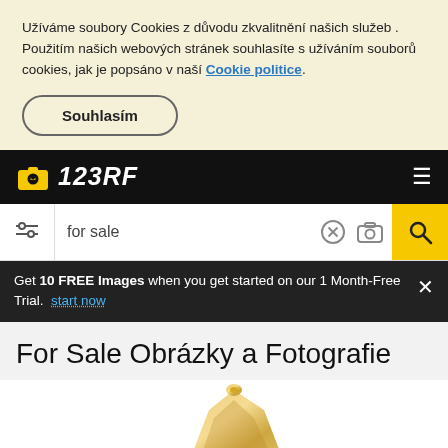Užíváme soubory Cookies z důvodu zkvalitnění našich služeb . Použitím našich webových stránek souhlasíte s užíváním souborů cookies, jak je popsáno v naší Cookie politice.
Souhlasím
123RF
for sale
Get 10 FREE Images when you get started on our 1 Month-Free Trial. start now
For Sale Obrázky a Fotografie
[Figure (photo): Partial view of a decorative gold frame, partially visible at bottom of page]